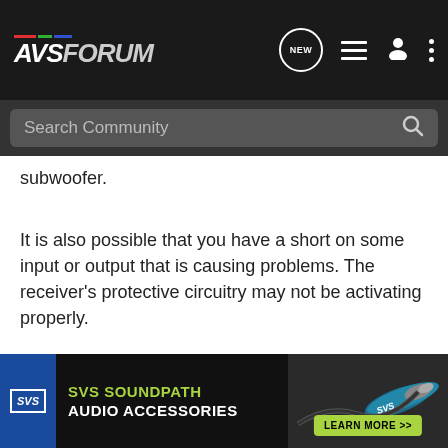AVSForum — navigation header with logo, NEW button, list icon, person icon, menu icon
Search Community
subwoofer.
It is also possible that you have a short on some input or output that is causing problems. The receiver's protective circuitry may not be activating properly.
Try this:
Disconnect EVERYTHING from your receiver. Take the receiver to a different room -- to be on a different power circuit.
[Figure (screenshot): SVS Soundpath Audio Accessories advertisement banner with blue SVS logo box, green text, cable image and Learn More button]